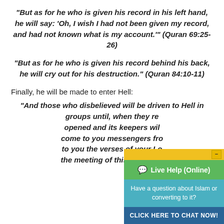"But as for he who is given his record in his left hand, he will say: ‘Oh, I wish I had not been given my record, and had not known what is my account.’" (Quran 69:25-26)
"But as for he who is given his record behind his back, he will cry out for his destruction." (Quran 84:10-11)
Finally, he will be made to enter Hell:
"And those who disbelieved will be driven to Hell in groups until, when they re... opened and its keepers wil... come to you messengers fro... to you the verses of your Lo... the meeting of this Day of yo...
[Figure (screenshot): Live Help (Online) chat widget overlay. Green header bar with chat icon and 'Live Help (Online)' text. Teal body with text 'Have a question about Islam or converting to it?'. Dark blue button 'CLICK HERE TO CHAT NOW!'. Yellow minimize bar at top right with minus button.]